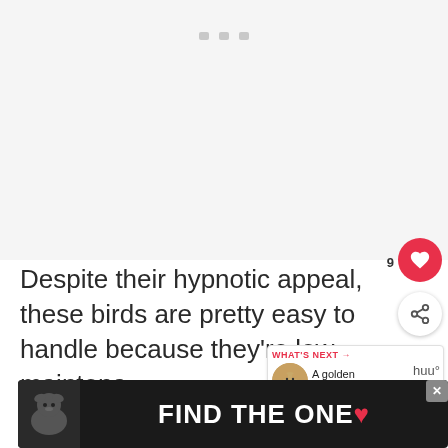[Figure (other): Top placeholder/ad area with three small gray rectangles near top center, light gray background]
Despite their hypnotic appeal, these birds are pretty easy to handle because they’re low maintena…
If you want an Ayam Cemani of your o…
[Figure (other): Bottom ad banner on dark background with dog image and text FIND THE ONE with a heart symbol, and a close X button]